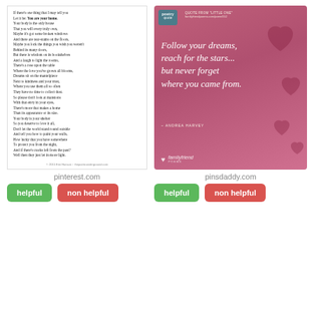[Figure (screenshot): Left card: poem page screenshot showing poem text with 'You are your home.' in bold, and a footer copyright line. Right card: pink/red gradient image with poetry quote badge, quote text 'Follow your dreams, reach for the stars... but never forget where you came from.' attributed to Andrea Harvey, familyfriend poems branding.]
pinterest.com
pinsdaddy.com
helpful | non helpful (pinterest.com)
helpful | non helpful (pinsdaddy.com)